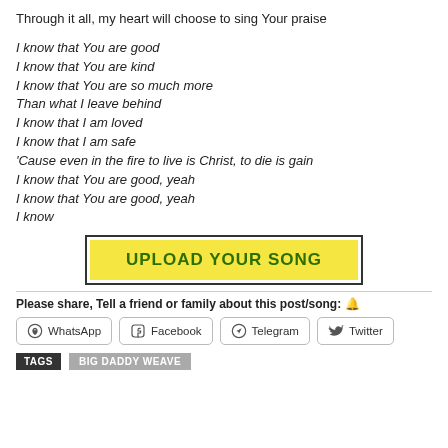Through it all, my heart will choose to sing Your praise
I know that You are good
I know that You are kind
I know that You are so much more
Than what I leave behind
I know that I am loved
I know that I am safe
'Cause even in the fire to live is Christ, to die is gain
I know that You are good, yeah
I know that You are good, yeah
I know
[Figure (other): Yellow button with text UPLOAD YOUR SONG inside a black border]
Please share, Tell a friend or family about this post/song: 🔔
WhatsApp  Facebook  Telegram  Twitter
TAGS  BIG DADDY WEAVE